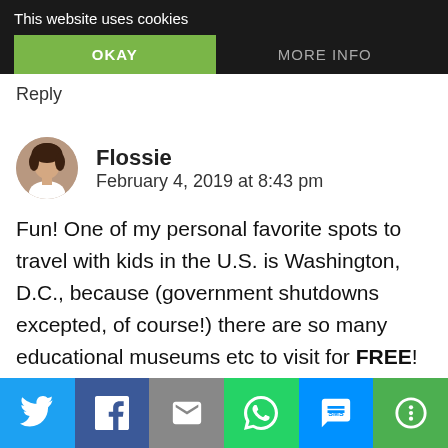This website uses cookies
OKAY
MORE INFO
Reply
Flossie
February 4, 2019 at 8:43 pm
Fun! One of my personal favorite spots to travel with kids in the U.S. is Washington, D.C., because (government shutdowns excepted, of course!) there are so many educational museums etc to visit for FREE!
Twitter | Facebook | Email | WhatsApp | SMS | More